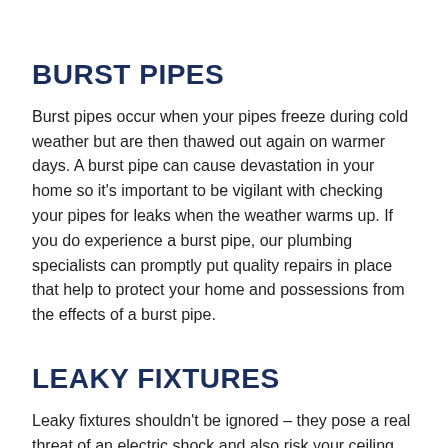BURST PIPES
Burst pipes occur when your pipes freeze during cold weather but are then thawed out again on warmer days. A burst pipe can cause devastation in your home so it's important to be vigilant with checking your pipes for leaks when the weather warms up. If you do experience a burst pipe, our plumbing specialists can promptly put quality repairs in place that help to protect your home and possessions from the effects of a burst pipe.
LEAKY FIXTURES
Leaky fixtures shouldn't be ignored – they pose a real threat of an electric shock and also risk your ceiling collapsing. If you